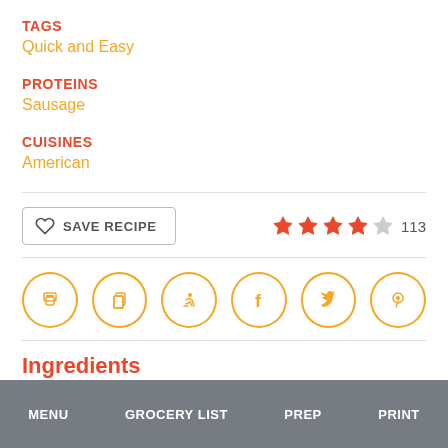TAGS
Quick and Easy
PROTEINS
Sausage
CUISINES
American
SAVE RECIPE
[Figure (other): 4.5 star rating with 113 reviews]
[Figure (other): Social sharing icons row: print, copy, jump, facebook, twitter, pinterest]
Ingredients
MENU   GROCERY LIST   PREP   PRINT